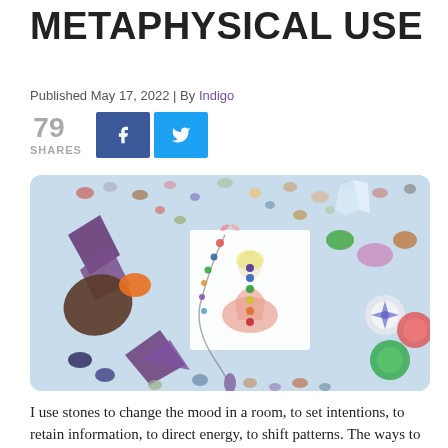METAPHYSICAL USE
Published May 17, 2022 | By Indigo
79 SHARES
[Figure (photo): Photo of colorful crystals and gemstones scattered on a light blue background, with a card showing a chakra meditation figure in the center, and a crystal pendulum necklace.]
I use stones to change the mood in a room, to set intentions, to retain information, to direct energy, to shift patterns. The ways to use stones are so many...